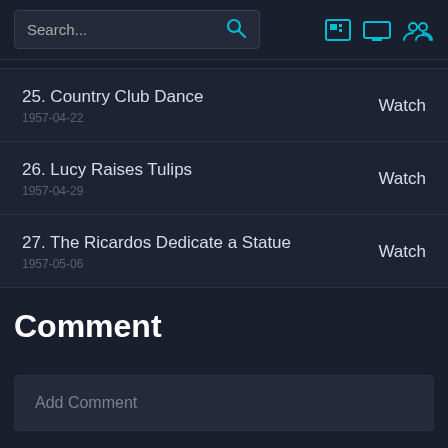Search...
25. Country Club Dance
1957-04-22
Watch
26. Lucy Raises Tulips
1957-04-29
Watch
27. The Ricardos Dedicate a Statue
1957-05-06
Watch
Comment
Add Comment